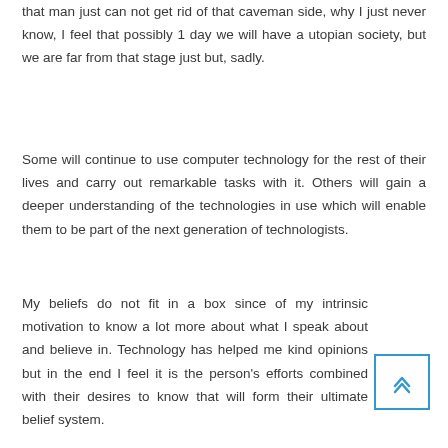that man just can not get rid of that caveman side, why I just never know, I feel that possibly 1 day we will have a utopian society, but we are far from that stage just but, sadly.
Some will continue to use computer technology for the rest of their lives and carry out remarkable tasks with it. Others will gain a deeper understanding of the technologies in use which will enable them to be part of the next generation of technologists.
My beliefs do not fit in a box since of my intrinsic motivation to know a lot more about what I speak about and believe in. Technology has helped me kind opinions but in the end I feel it is the person's efforts combined with their desires to know that will form their ultimate belief system.